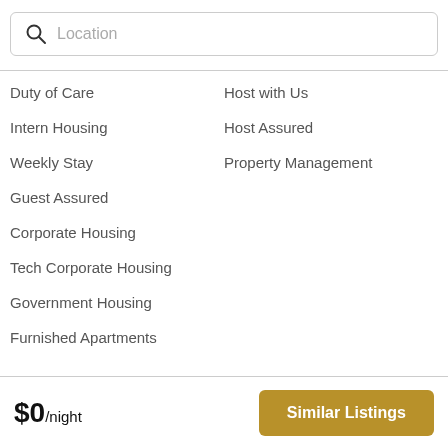[Figure (screenshot): Search bar with magnifying glass icon and placeholder text 'Location']
Duty of Care
Host with Us
Intern Housing
Host Assured
Weekly Stay
Property Management
Guest Assured
Corporate Housing
Tech Corporate Housing
Government Housing
Furnished Apartments
$0/night
Similar Listings